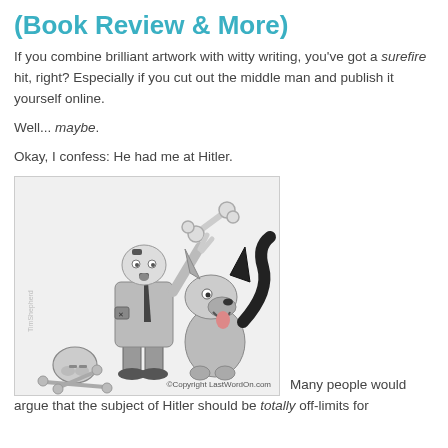(Book Review & More)
If you combine brilliant artwork with witty writing, you've got a surefire hit, right?  Especially if you cut out the middle man and publish it yourself online.
Well... maybe.
Okay, I confess:  He had me at Hitler.
[Figure (illustration): Cartoon illustration in grayscale of a caricature of Hitler in uniform holding a bone up toward a cartoon dog sitting on its haunches. A skull and crossbones lie on the ground. Watermark reads 'TimShepherd' on the side. Copyright text: ©Copyright LastWordOn.com]
Many people would argue that the subject of Hitler should be totally off-limits for